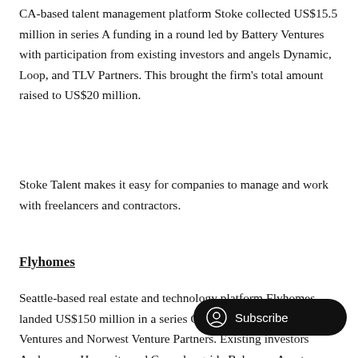CA-based talent management platform Stoke collected US$15.5 million in series A funding in a round led by Battery Ventures with participation from existing investors and angels Dynamic, Loop, and TLV Partners. This brought the firm's total amount raised to US$20 million.
Stoke Talent makes it easy for companies to manage and work with freelancers and contractors.
Flyhomes
Seattle-based real estate and technology platform Flyhomes landed US$150 million in a series C round co-led by Battery Ventures and Norwest Venture Partners. Existing investors Andreessen Horowitz and Cam alongside Balyasny Asset Management, Fifth Wall, Spencer Rascoff, and Trustbridge Partners also joined the round. Flyhomes has raised a total of US$310